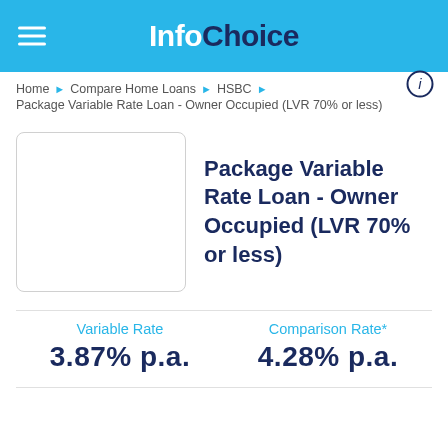InfoChoice
Home ▶ Compare Home Loans ▶ HSBC ▶
Package Variable Rate Loan - Owner Occupied (LVR 70% or less)
Package Variable Rate Loan - Owner Occupied (LVR 70% or less)
Variable Rate
3.87% p.a.
Comparison Rate*
4.28% p.a.